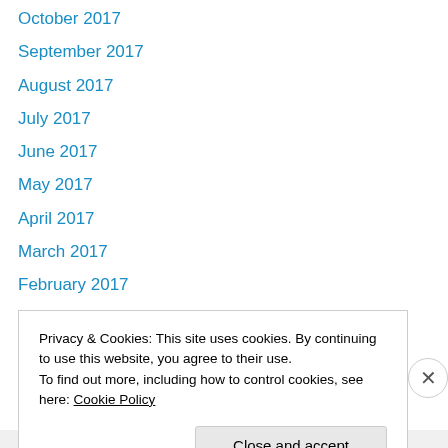October 2017
September 2017
August 2017
July 2017
June 2017
May 2017
April 2017
March 2017
February 2017
January 2017
December 2016
January 2016
August 2014
January 2014
Privacy & Cookies: This site uses cookies. By continuing to use this website, you agree to their use.
To find out more, including how to control cookies, see here: Cookie Policy
Close and accept